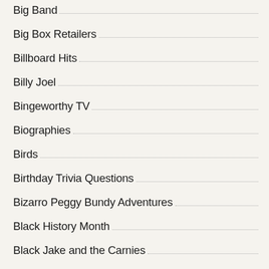Big Band
Big Box Retailers
Billboard Hits
Billy Joel
Bingeworthy TV
Biographies
Birds
Birthday Trivia Questions
Bizarro Peggy Bundy Adventures
Black History Month
Black Jake and the Carnies